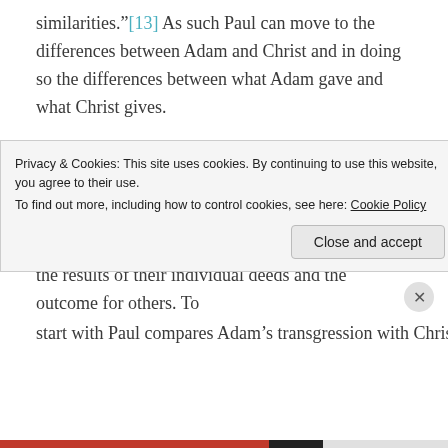similarities.”[13] As such Paul can move to the differences between Adam and Christ and in doing so the differences between what Adam gave and what Christ gives.
5:15-17
In the next section Paul lists multiple contrasts. These contrasts are based on Adam and Jesus but go beyond simply comparing them as individuals to the results of their individual deeds and the outcome for others. To
(cut off by cookie banner)
Privacy & Cookies: This site uses cookies. By continuing to use this website, you agree to their use. To find out more, including how to control cookies, see here: Cookie Policy
Close and accept